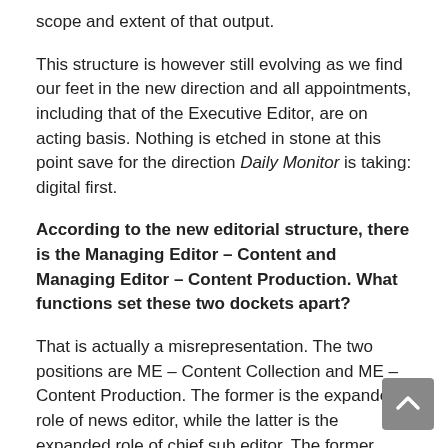scope and extent of that output.
This structure is however still evolving as we find our feet in the new direction and all appointments, including that of the Executive Editor, are on acting basis. Nothing is etched in stone at this point save for the direction Daily Monitor is taking: digital first.
According to the new editorial structure, there is the Managing Editor – Content and Managing Editor – Content Production. What functions set these two dockets apart?
That is actually a misrepresentation. The two positions are ME – Content Collection and ME – Content Production. The former is the expanded role of news editor, while the latter is the expanded role of chief sub editor. The former oversees the collection of content for print, online and